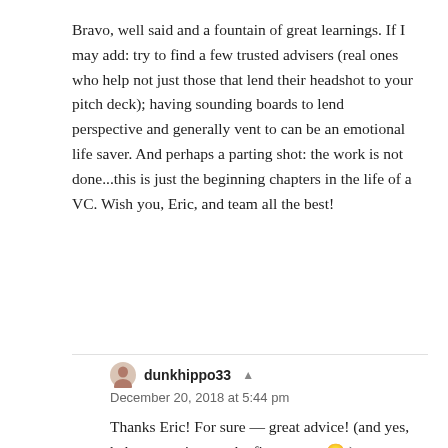Bravo, well said and a fountain of great learnings. If I may add: try to find a few trusted advisers (real ones who help not just those that lend their headshot to your pitch deck); having sounding boards to lend perspective and generally vent to can be an emotional life saver. And perhaps a parting shot: the work is not done...this is just the beginning chapters in the life of a VC. Wish you, Eric, and team all the best!
REPLY
dunkhippo33
December 20, 2018 at 5:44 pm
Thanks Eric! For sure — great advice! (and yes, hah, we are just on the first rung... 🙂 )